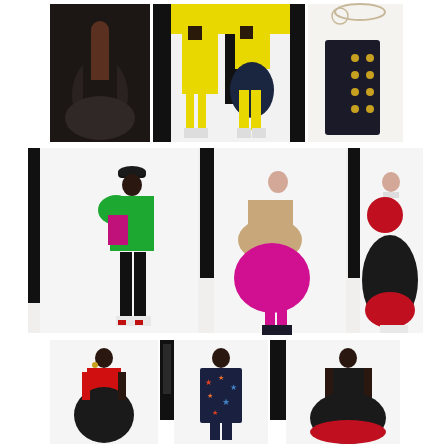[Figure (photo): Fashion editorial collage showing 9 fashion photos arranged in 3 rows. Row 1: black sculptural dress, two models in yellow outfits, close-up of dark military jacket with gold buttons and chain detail. Row 2: wide panoramic strip showing three models — one in green oversized top with black pants and sneakers, one in tan coat with fuchsia ruffled skirt, one in black and red ball gown with sneakers. Row 3: three models — one in red top with black skirt, one in printed star-patterned blazer, one in black dress with red underskirt.]